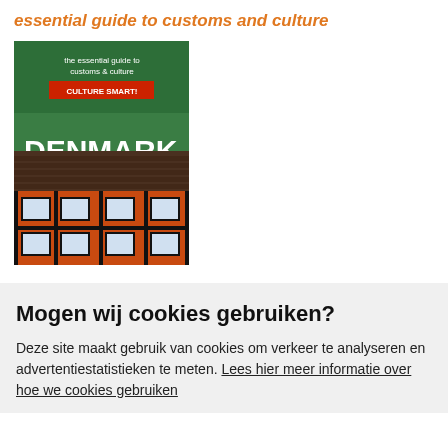essential guide to customs and culture
[Figure (photo): Book cover of 'Denmark - Culture Smart! The essential guide to customs & culture' showing a traditional Danish half-timbered building with orange/red walls and a green banner at top.]
Mogen wij cookies gebruiken?
Deze site maakt gebruik van cookies om verkeer te analyseren en advertentiestatistieken te meten. Lees hier meer informatie over hoe we cookies gebruiken